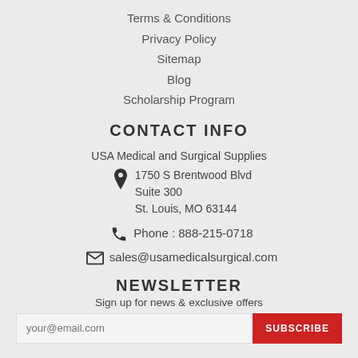Terms & Conditions
Privacy Policy
Sitemap
Blog
Scholarship Program
CONTACT INFO
USA Medical and Surgical Supplies
1750 S Brentwood Blvd
Suite 300
St. Louis, MO 63144
Phone : 888-215-0718
sales@usamedicalsurgical.com
NEWSLETTER
Sign up for news & exclusive offers